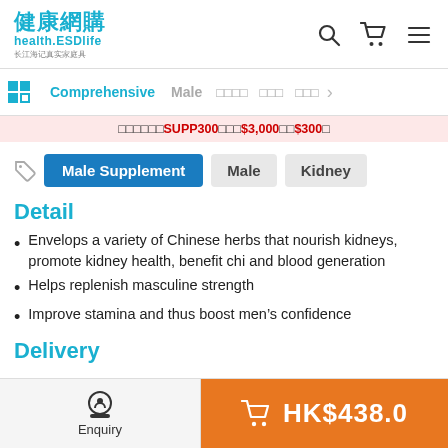健康網購 health.ESDlife
Comprehensive | Male | □□□□ | □□□ | □□□
□□□□□□SUPP300□□□$3,000□□$300□
Male Supplement  Male  Kidney
Detail
Envelops a variety of Chinese herbs that nourish kidneys, promote kidney health, benefit chi and blood generation
Helps replenish masculine strength
Improve stamina and thus boost men's confidence
Delivery
Enquiry  HK$438.0